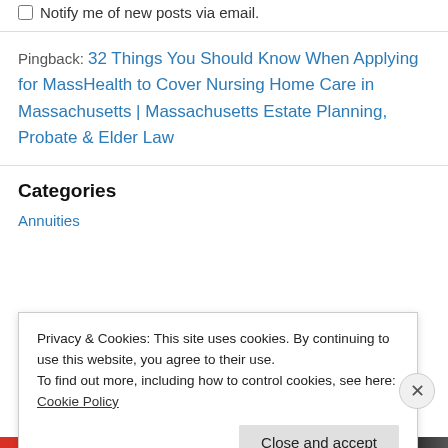☐ Notify me of new posts via email.
Pingback: 32 Things You Should Know When Applying for MassHealth to Cover Nursing Home Care in Massachusetts | Massachusetts Estate Planning, Probate & Elder Law
Categories
Annuities
Privacy & Cookies: This site uses cookies. By continuing to use this website, you agree to their use.
To find out more, including how to control cookies, see here: Cookie Policy
Close and accept